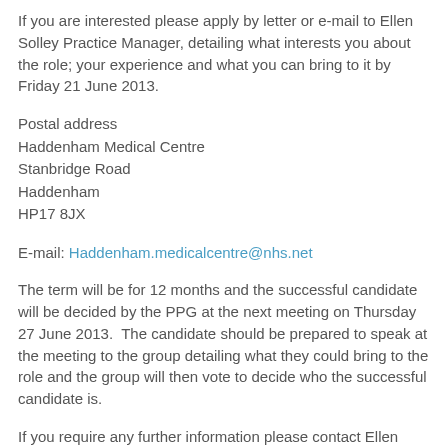If you are interested please apply by letter or e-mail to Ellen Solley Practice Manager, detailing what interests you about the role; your experience and what you can bring to it by Friday 21 June 2013.
Postal address
Haddenham Medical Centre
Stanbridge Road
Haddenham
HP17 8JX
E-mail: Haddenham.medicalcentre@nhs.net
The term will be for 12 months and the successful candidate will be decided by the PPG at the next meeting on Thursday 27 June 2013.  The candidate should be prepared to speak at the meeting to the group detailing what they could bring to the role and the group will then vote to decide who the successful candidate is.
If you require any further information please contact Ellen Solley as detailed above.